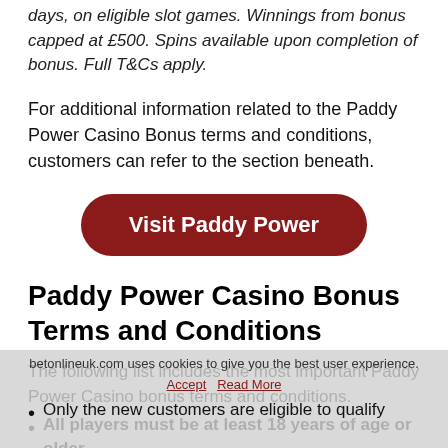days, on eligible slot games. Winnings from bonus capped at £500. Spins available upon completion of bonus. Full T&Cs apply.
For additional information related to the Paddy Power Casino Bonus terms and conditions, customers can refer to the section beneath.
[Figure (other): Dark red rounded button with white bold text reading 'Visit Paddy Power']
Paddy Power Casino Bonus Terms and Conditions
The following list includes the most important Paddy Power Casino bonus terms and conditions.
All players must be at least 18 years of age or older.
Only the new customers are eligible to qualify